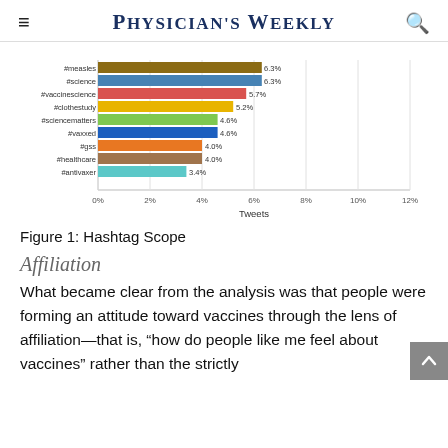PHYSICIAN'S WEEKLY
[Figure (bar-chart): ]
Figure 1: Hashtag Scope
Affiliation
What became clear from the analysis was that people were forming an attitude toward vaccines through the lens of affiliation—that is, “how do people like me feel about vaccines” rather than the strictly